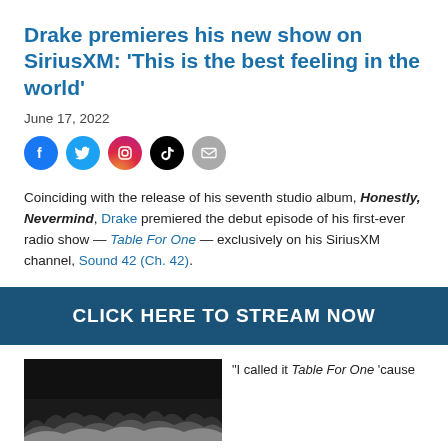Drake premieres his new show on SiriusXM: 'This is the best feeling in the world'
June 17, 2022
[Figure (infographic): Social media share icons: Facebook, Twitter, Instagram, TikTok, Email]
Coinciding with the release of his seventh studio album, Honestly, Nevermind, Drake premiered the debut episode of his first-ever radio show — Table For One — exclusively on his SiriusXM channel, Sound 42 (Ch. 42).
CLICK HERE TO STREAM NOW
[Figure (photo): Dark concert/crowd photo]
"I called it Table For One 'cause